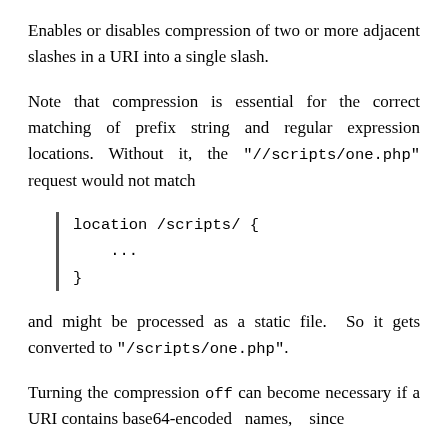Enables or disables compression of two or more adjacent slashes in a URI into a single slash.
Note that compression is essential for the correct matching of prefix string and regular expression locations. Without it, the "//scripts/one.php" request would not match
location /scripts/ {
    ...
}
and might be processed as a static file. So it gets converted to "/scripts/one.php".
Turning the compression off can become necessary if a URI contains base64-encoded names, since